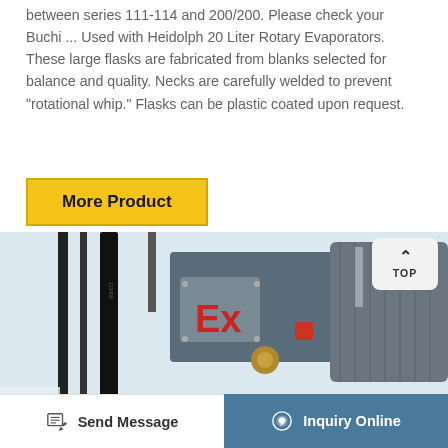between series 111-114 and 200/200. Please check your Buchi ... Used with Heidolph 20 Liter Rotary Evaporators. These large flasks are fabricated from blanks selected for balance and quality. Necks are carefully welded to prevent “rotational whip.” Flasks can be plastic coated upon request.
More Product
[Figure (photo): Close-up photo of an industrial motor or pump assembly labeled 'Ex' (explosion-proof), showing metallic casing with hoses/tubes, bronze fittings, and a gray electric motor housing.]
Send Message
Inquiry Online